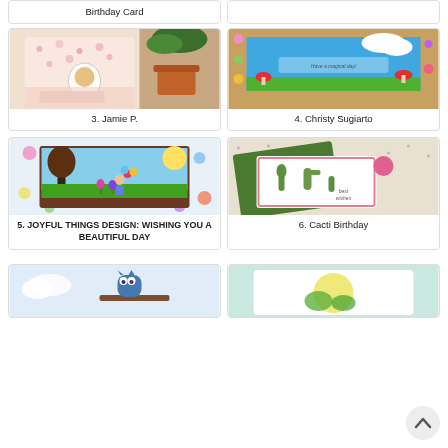Birthday Card
[Figure (photo): Handmade card with cat in fishbowl and pink floral patterned paper, plant in background]
3. Jamie P.
[Figure (photo): Colorful handmade card with fairy tale scene, mushrooms, children, blue sky]
4. Christy Sugiarto
[Figure (photo): Handmade card with girl holding balloons, tree silhouette, floral patterned border]
5. JOYFUL THINGS DESIGN: WISHING YOU A BEAUTIFUL DAY
[Figure (photo): Handmade card with cactus design, best wishes text, green envelope]
6. Cacti Birthday
[Figure (photo): Partially visible handmade card with blue owl on branch]
[Figure (photo): Partially visible handmade card with sun/circle design on light blue background]